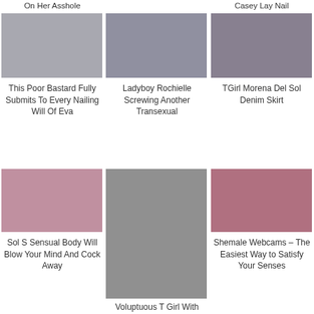On Her Asshole
Casey Lay Nail
[Figure (photo): Adult content image 1]
This Poor Bastard Fully Submits To Every Nailing Will Of Eva
[Figure (photo): Adult content image 2]
Ladyboy Rochielle Screwing Another Transexual
[Figure (photo): Adult content image 3]
TGirl Morena Del Sol Denim Skirt
[Figure (photo): Adult content image 4]
Sol S Sensual Body Will Blow Your Mind And Cock Away
[Figure (photo): Adult content image 5 - center large]
Voluptuous T Girl With Gorgeous
[Figure (photo): Adult content image 6]
Shemale Webcams – The Easiest Way to Satisfy Your Senses